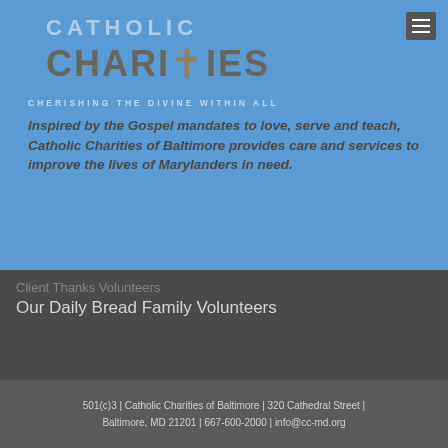[Figure (logo): Catholic Charities logo with cross symbol]
CHERISHING THE DIVINE WITHIN ALL
Inspired by the Gospel mandates to love, serve and teach, Catholic Charities of Baltimore provides care and services to improve the lives of Marylanders in need.
Client Thanks Volunteers
Our Daily Bread Family Volunteers
501(c)3 | Catholic Charities of Baltimore | 320 Cathedral Street | Baltimore, MD 21201 | 667-600-2000 | info@cc-md.org